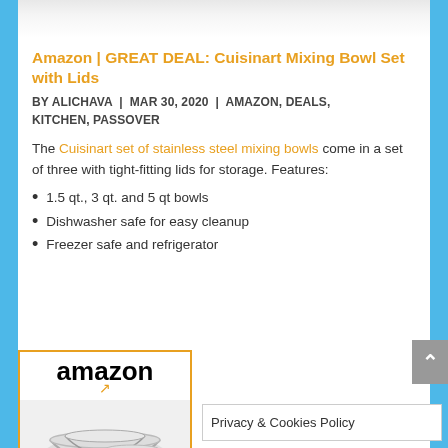[Figure (photo): Partial view of stainless steel mixing bowls at the top of the page]
Amazon | GREAT DEAL: Cuisinart Mixing Bowl Set with Lids
BY ALICHAVA | MAR 30, 2020 | AMAZON, DEALS, KITCHEN, PASSOVER
The Cuisinart set of stainless steel mixing bowls come in a set of three with tight-fitting lids for storage. Features:
1.5 qt., 3 qt. and 5 qt bowls
Dishwasher safe for easy cleanup
Freezer safe and refrigerator
[Figure (screenshot): Amazon product listing box with Amazon logo and image of stainless steel mixing bowls]
Privacy & Cookies Policy